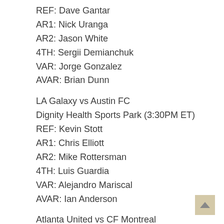REF: Dave Gantar
AR1: Nick Uranga
AR2: Jason White
4TH: Sergii Demianchuk
VAR: Jorge Gonzalez
AVAR: Brian Dunn
LA Galaxy vs Austin FC
Dignity Health Sports Park (3:30PM ET)
REF: Kevin Stott
AR1: Chris Elliott
AR2: Mike Rottersman
4TH: Luis Guardia
VAR: Alejandro Mariscal
AVAR: Ian Anderson
Atlanta United vs CF Montreal
Mercedes-Benz Stadium (7PM ET)
REF: Silviu Petrescu